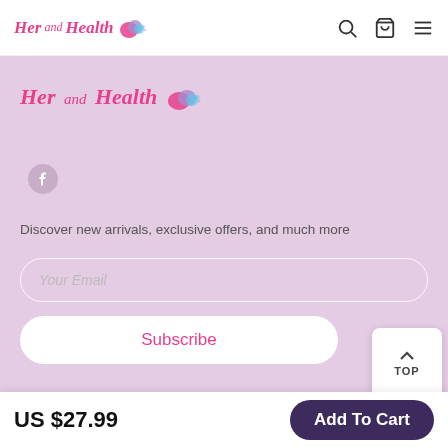Her and Health [logo] [search] [cart] [menu]
[Figure (logo): Her and Health logo with colorful splash graphic]
[Figure (illustration): Facebook social media icon circle]
Discover new arrivals, exclusive offers, and much more
Your Email
Subscribe
CONTACT
+1 647 767 1986
US $27.99   Add To Cart